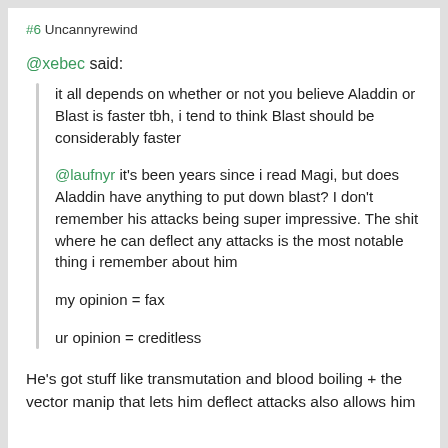#6 Uncannyrewind
@xebec said:
it all depends on whether or not you believe Aladdin or Blast is faster tbh, i tend to think Blast should be considerably faster
@laufnyr it's been years since i read Magi, but does Aladdin have anything to put down blast? I don't remember his attacks being super impressive. The shit where he can deflect any attacks is the most notable thing i remember about him
my opinion = fax
ur opinion = creditless
He's got stuff like transmutation and blood boiling + the vector manip that lets him deflect attacks also allows him